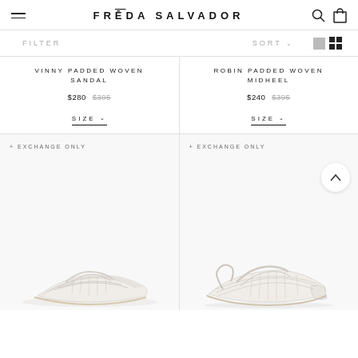FRĒDA SALVADOR
FILTER   SORT ∨
VINNY PADDED WOVEN SANDAL
$280  $395
SIZE ∨
ROBIN PADDED WOVEN MIDHEEL
$240  $395
SIZE ∨
+ EXCHANGE ONLY
[Figure (photo): White woven flat slide sandal on light background]
+ EXCHANGE ONLY
[Figure (photo): White woven midheel sandal on light background]